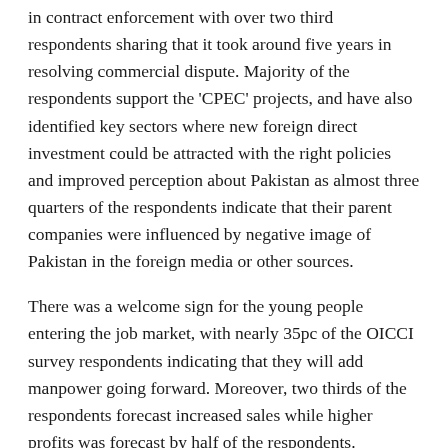in contract enforcement with over two third respondents sharing that it took around five years in resolving commercial dispute. Majority of the respondents support the 'CPEC' projects, and have also identified key sectors where new foreign direct investment could be attracted with the right policies and improved perception about Pakistan as almost three quarters of the respondents indicate that their parent companies were influenced by negative image of Pakistan in the foreign media or other sources.
There was a welcome sign for the young people entering the job market, with nearly 35pc of the OICCI survey respondents indicating that they will add manpower going forward. Moreover, two thirds of the respondents forecast increased sales while higher profits was forecast by half of the respondents.
Published in Dawn, February 7th, 2020